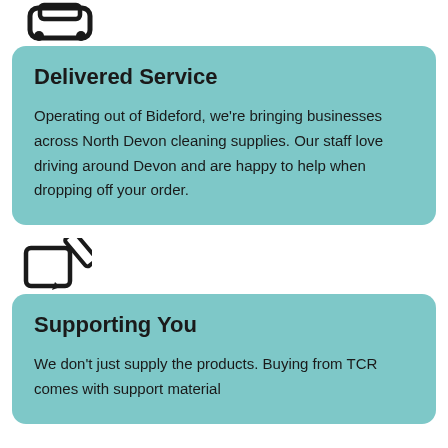[Figure (illustration): Car/truck icon (top view) representing delivered service]
Delivered Service
Operating out of Bideford, we're bringing businesses across North Devon cleaning supplies. Our staff love driving around Devon and are happy to help when dropping off your order.
[Figure (illustration): Edit/pencil on document icon representing Supporting You]
Supporting You
We don't just supply the products. Buying from TCR comes with support material